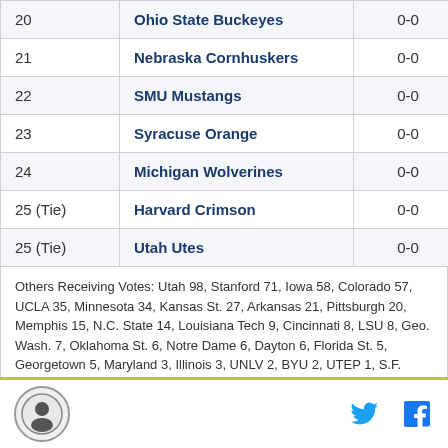| Rank | Team | Record | Points |
| --- | --- | --- | --- |
| 20 | Ohio State Buckeyes | 0-0 | 340 |
| 21 | Nebraska Cornhuskers | 0-0 | 309 |
| 22 | SMU Mustangs | 0-0 | 285 |
| 23 | Syracuse Orange | 0-0 | 178 |
| 24 | Michigan Wolverines | 0-0 | 167 |
| 25 (Tie) | Harvard Crimson | 0-0 | 98 |
| 25 (Tie) | Utah Utes | 0-0 | 98 |
Others Receiving Votes: Utah 98, Stanford 71, Iowa 58, Colorado 57, UCLA 35, Minnesota 34, Kansas St. 27, Arkansas 21, Pittsburgh 20, Memphis 15, N.C. State 14, Louisiana Tech 9, Cincinnati 8, LSU 8, Geo. Wash. 7, Oklahoma St. 6, Notre Dame 6, Dayton 6, Florida St. 5, Georgetown 5, Maryland 3, Illinois 3, UNLV 2, BYU 2, UTEP 1, S.F. Austin 1, Baylor 1, West Virginia 1